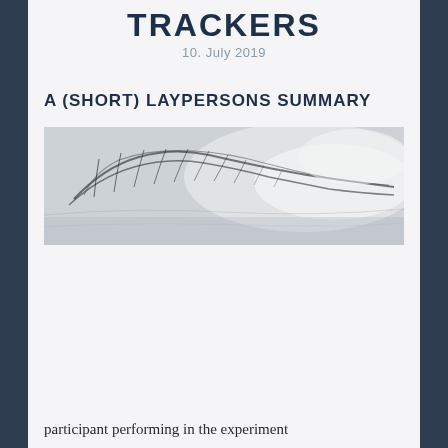TRACKERS
10. July 2019
A (SHORT) LAYPERSONS SUMMARY
[Figure (photo): Close-up photograph of a human eye area / eyelashes, shown in black and white / grayscale tones, panoramic crop]
participant performing in the experiment